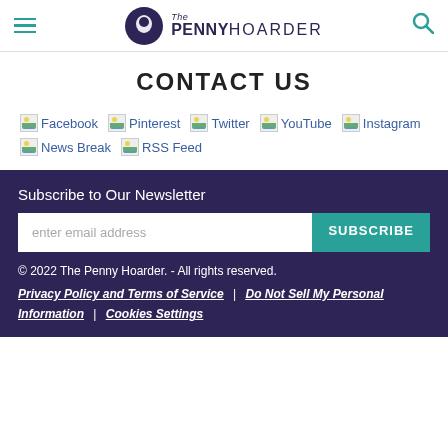The Penny Hoarder
CONTACT US
[Figure (screenshot): Social media links row: Facebook, Pinterest, Twitter, YouTube, Instagram, News Break, RSS Feed with broken image icons]
Subscribe to Our Newsletter
enter email address
SUBSCRIBE
© 2022 The Penny Hoarder. - All rights reserved. Privacy Policy and Terms of Service | Do Not Sell My Personal Information | Cookies Settings